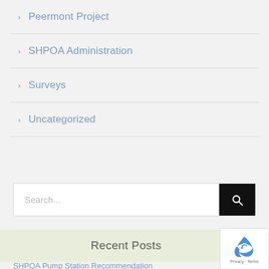> Peermont Project
> SHPOA Administration
> Surveys
> Uncategorized
Search...
Recent Posts
SHPOA Pump Station Recommendation